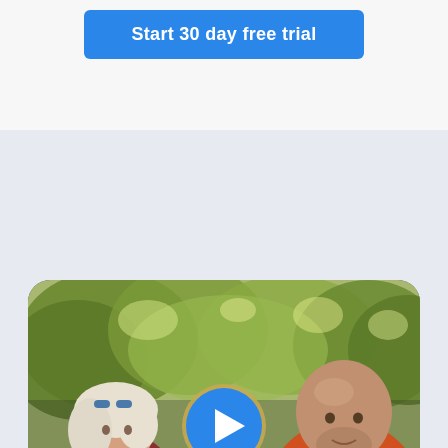Start 30 day free trial
[Figure (photo): A woman with white/blonde hair wearing a dark red t-shirt and a bald man with a beard wearing an orange shirt, standing outdoors with green trees in the background. A blue play button is overlaid in the center of the image.]